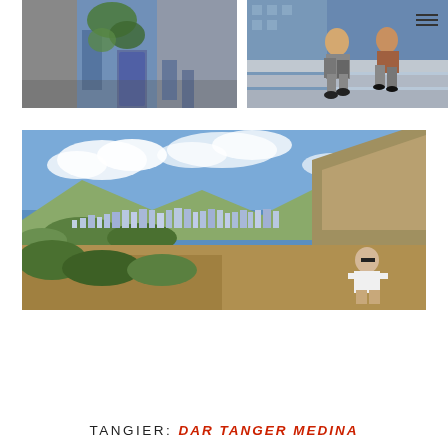[Figure (photo): Blue-painted alleyway in Chefchaouen, Morocco with green plants and blue walls]
[Figure (photo): Two people sitting on blue tiled steps in Chefchaouen, Morocco]
[Figure (photo): Panoramic view of Chefchaouen, the Blue City of Morocco, with mountains in background and a man posing in foreground]
TANGIER: DAR TANGER MEDINA